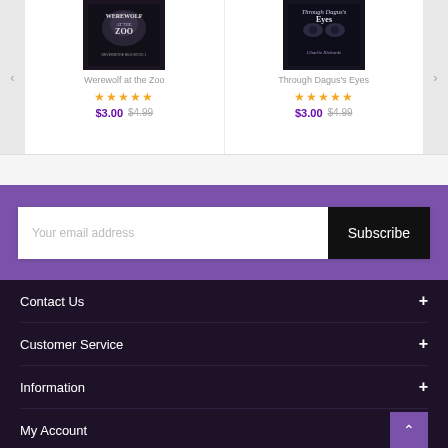[Figure (illustration): Book cover for 'Werewolf at the Zoo' - dark cover with wolf imagery]
Werewolf at the Zoo
★★★★★
$3.00  $4.99
[Figure (illustration): Book cover for 'Through Dagus's Eyes' - dark cover with eyes imagery by Charlie Richards]
Through Dagus's Eyes
★★★★★
$3.00  $4.99
Your email address
Subscribe
Contact Us
Customer Service
Information
My Account